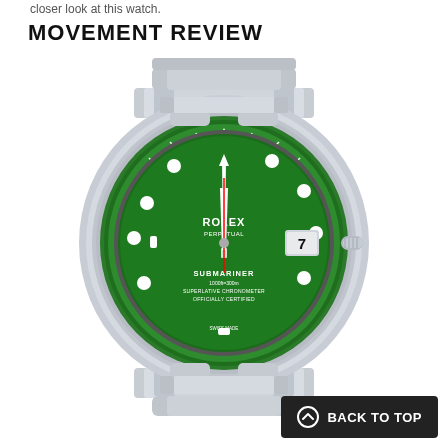closer look at this watch.
MOVEMENT REVIEW
[Figure (photo): Rolex Submariner watch with green ceramic bezel and green dial, stainless steel Oyster bracelet, showing the Hulk reference. Dial shows SUBMARINER 1000ft/300m SUPERLATIVE CHRONOMETER OFFICIALLY CERTIFIED. Date window at 3 o'clock showing 7.]
BACK TO TOP